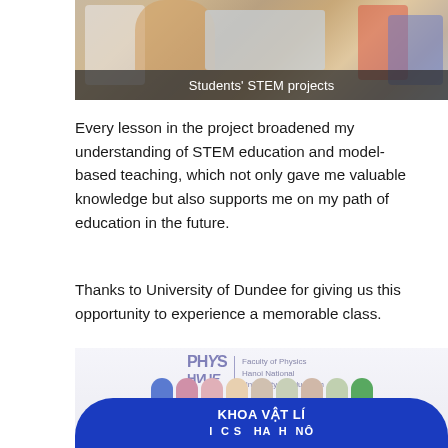[Figure (photo): Students working on STEM projects at a table, handling materials including foil, with a caption overlay reading "Students' STEM projects"]
Students' STEM projects
Every lesson in the project broadened my understanding of STEM education and model-based teaching, which not only gave me valuable knowledge but also supports me on my path of education in the future.
Thanks to University of Dundee for giving us this opportunity to experience a memorable class.
[Figure (photo): Group photo in front of a Faculty of Physics, Hanoi National University of Education banner with blue KHOA VẬT LÍ sign, with logo of PHYS HUE visible]